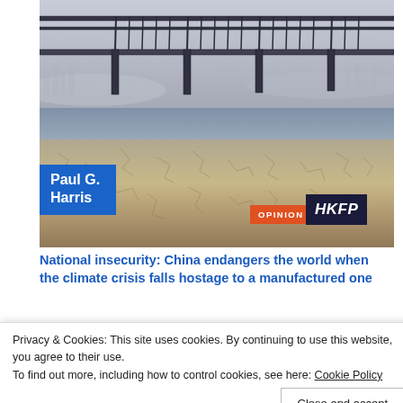[Figure (photo): Aerial/landscape photo of a large bridge over a dry, cracked riverbed with sandy terrain, overlaid with author name 'Paul G. Harris' in blue badge, 'OPINION' in orange badge, and 'HKFP' logo in dark navy badge]
National insecurity: China endangers the world when the climate crisis falls hostage to a manufactured one
[Figure (photo): Second article thumbnail showing a keynote speech event with people visible and orange text 'Keynote Speech' overlaid on light blue background]
[Figure (photo): Bottom strip showing a third article thumbnail with a person named Tim and HKFP branding]
Privacy & Cookies: This site uses cookies. By continuing to use this website, you agree to their use.
To find out more, including how to control cookies, see here: Cookie Policy
Close and accept